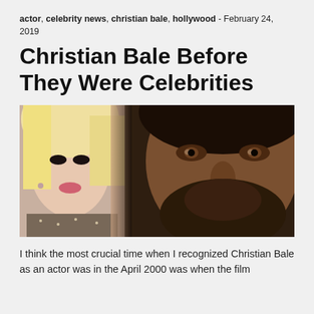actor, celebrity news, christian bale, hollywood - February 24, 2019
Christian Bale Before They Were Celebrities
[Figure (photo): Composite photo showing a blonde woman on the left and a bearded man (Christian Bale) in close-up on the right]
I think the most crucial time when I recognized Christian Bale as an actor was in the April 2000 was when the film